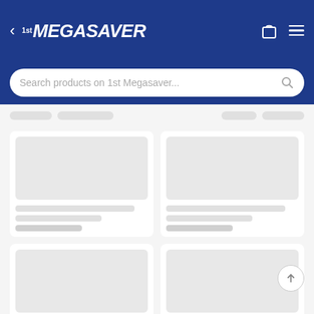[Figure (screenshot): 1st Megasaver e-commerce website header with blue background showing back arrow, logo, shopping bag icon, and hamburger menu]
Search products on 1st Megasaver...
[Figure (screenshot): Loading state of product listing page with skeleton placeholder cards in a 2-column grid layout]